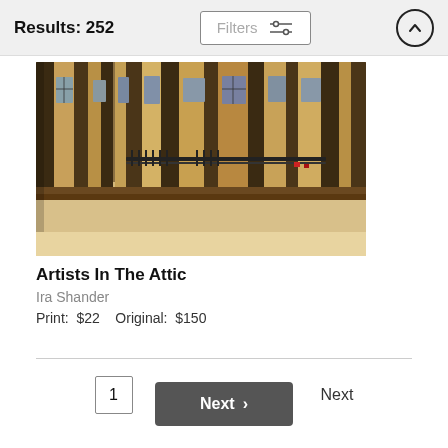Results: 252  Filters
[Figure (photo): Photograph of building facade with Haussmann-style windows and iron railings, Paris architectural style, warm golden-brown tones]
Artists In The Attic
Ira Shander
Print: $22   Original: $150
1  2  3  4  Next
Next >